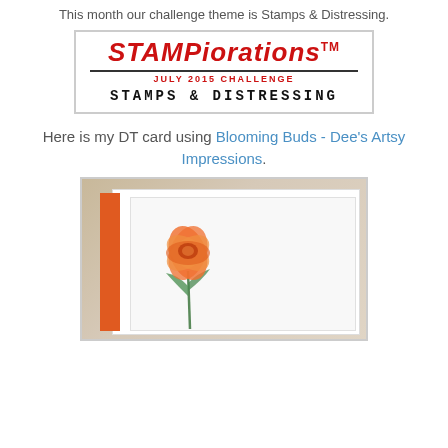This month our challenge theme is Stamps & Distressing.
[Figure (logo): STAMPiorations logo banner with text: JULY 2015 CHALLENGE and STAMPS & DISTRESSING]
Here is my DT card using Blooming Buds - Dee's Artsy Impressions.
[Figure (photo): Handmade greeting card on wood background featuring an orange flower (Blooming Buds stamp), white card base with scalloped orange strip on left side]